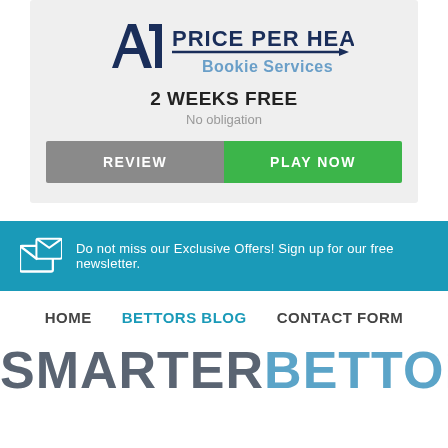[Figure (logo): A1 Price Per Head Bookie Services logo with dark blue A1 symbol and arrow]
2 WEEKS FREE
No obligation
REVIEW
PLAY NOW
Do not miss our Exclusive Offers! Sign up for our free newsletter.
HOME   BETTORS BLOG   CONTACT FORM
SMARTERBETTOR